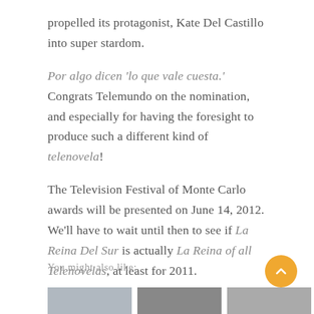propelled its protagonist, Kate Del Castillo into super stardom.
Por algo dicen 'lo que vale cuesta.'  Congrats Telemundo on the nomination, and especially for having the foresight to produce such a different kind of telenovela!
The Television Festival of Monte Carlo awards will be presented on June 14, 2012. We'll have to wait until then to see if La Reina Del Sur is actually La Reina of all Telenovelas, at least for 2011.
You might also like:
[Figure (photo): Thumbnail images partially visible at the bottom of the page]